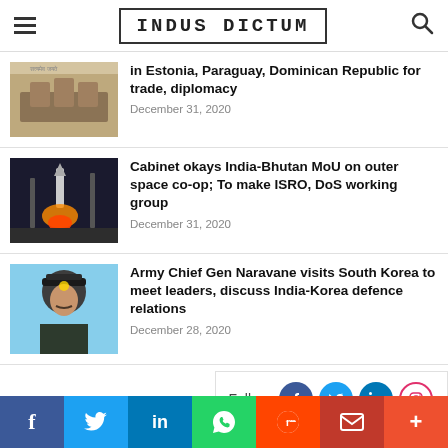INDUS DICTUM
in Estonia, Paraguay, Dominican Republic for trade, diplomacy
December 31, 2020
Cabinet okays India-Bhutan MoU on outer space co-op; To make ISRO, DoS working group
December 31, 2020
Army Chief Gen Naravane visits South Korea to meet leaders, discuss India-Korea defence relations
December 28, 2020
Follow